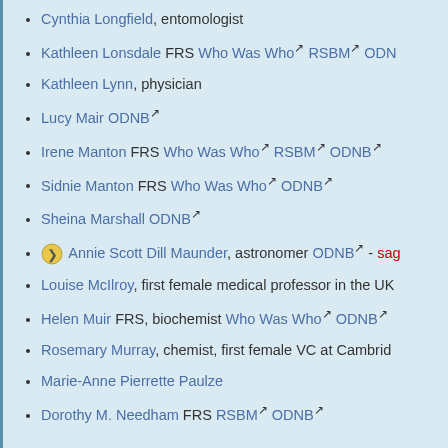Cynthia Longfield, entomologist
Kathleen Lonsdale FRS Who Was Who RSBM ODN
Kathleen Lynn, physician
Lucy Mair ODNB
Irene Manton FRS Who Was Who RSBM ODNB
Sidnie Manton FRS Who Was Who ODNB
Sheina Marshall ODNB
Annie Scott Dill Maunder, astronomer ODNB - sag
Louise McIlroy, first female medical professor in the UK
Helen Muir FRS, biochemist Who Was Who ODNB
Rosemary Murray, chemist, first female VC at Cambride
Marie-Anne Pierrette Paulze
Dorothy M. Needham FRS RSBM ODNB